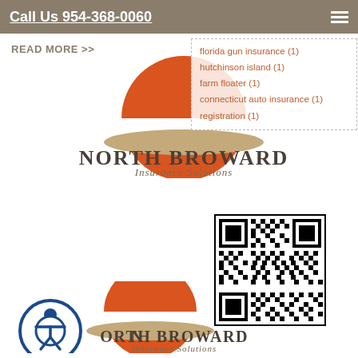Call Us 954-368-0060
READ MORE >>
florida gun insurance (1)
hutchinson island (1)
farm floater (1)
connecticut auto insurance (1)
registration (1)
[Figure (logo): North Broward Insurance Solutions logo — orange half-sun above text NORTH BROWARD Insurance Solutions]
[Figure (other): QR code square barcode]
[Figure (logo): North Broward Insurance Solutions logo with accessibility icon — orange half-sun above text NORTH BROWARD Insurance Solutions with blue accessibility wheel icon overlay]